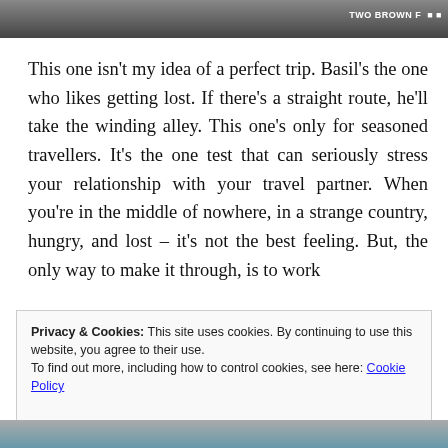[Figure (photo): Partial photo of a travel/outdoor scene visible at the top of the page with a 'TWO BROWN F' watermark in the top-right corner]
This one isn't my idea of a perfect trip. Basil's the one who likes getting lost. If there's a straight route, he'll take the winding alley. This one's only for seasoned travellers. It's the one test that can seriously stress your relationship with your travel partner. When you're in the middle of nowhere, in a strange country, hungry, and lost – it's not the best feeling. But, the only way to make it through, is to work
Privacy & Cookies: This site uses cookies. By continuing to use this website, you agree to their use.
To find out more, including how to control cookies, see here: Cookie Policy
Close and accept
[Figure (photo): Partial photo visible at the bottom of the page, appears to be a travel/outdoor scene]